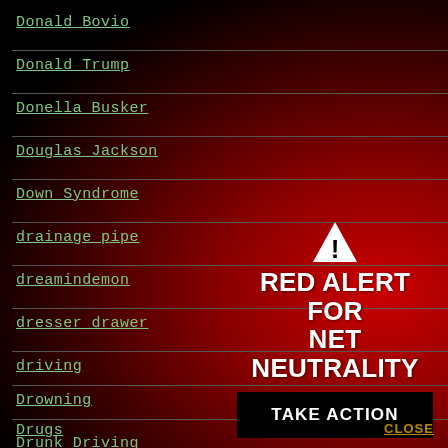Donald Bovio
Donald Trump
Donella Busker
Douglas Jackson
Down Syndrome
drainage pipe
dreamindemon
dresser drawer
driving
Drowning
Drugs
Drunk Driving
[Figure (infographic): Red Alert for Net Neutrality warning overlay with triangle warning icon, bold white text reading RED ALERT FOR NET NEUTRALITY, a black TAKE ACTION button, and a CLOSE link]
CLOSE